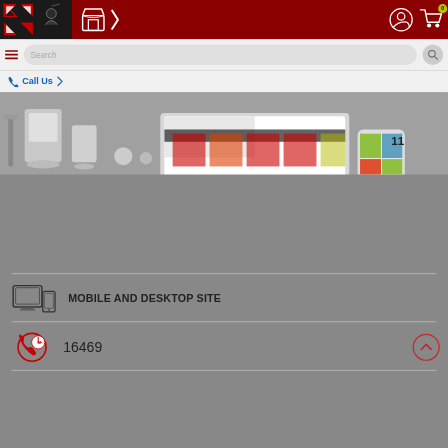[Figure (screenshot): E-commerce website screenshot showing top navigation bar with logo, store icon, user icon, and cart with badge showing 0]
[Figure (screenshot): Search bar with hamburger menu icon on the left and search button on right]
Call Us
[Figure (photo): Hero banner showing desktop computers, office items, and mobile device]
MOBILE AND DESKTOP SITE
16469